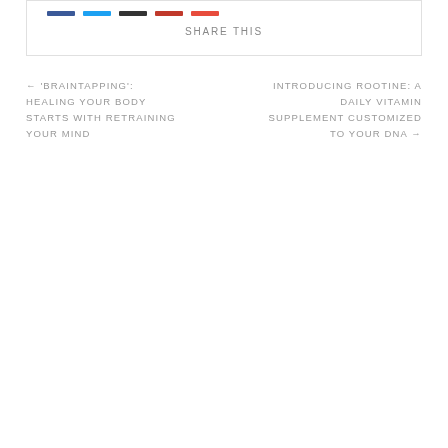[Figure (other): Social sharing icons row (colored bars representing social media share buttons) above a SHARE THIS label]
SHARE THIS
← 'BRAINTAPPING': HEALING YOUR BODY STARTS WITH RETRAINING YOUR MIND
INTRODUCING ROOTINE: A DAILY VITAMIN SUPPLEMENT CUSTOMIZED TO YOUR DNA →